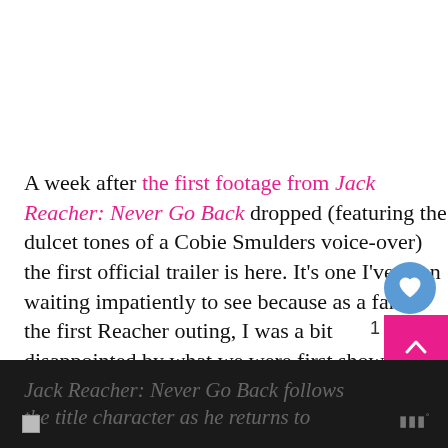A week after the first footage from Jack Reacher: Never Go Back dropped (featuring the dulcet tones of a Cobie Smulders voice-over) the first official trailer is here. It's one I've been waiting impatiently to see because as a fan of the first Reacher outing, I was a bit disappointed by what we were first show...
The official plot synopsis (it finally has one) is as...
Jack Reacher: Never Go Back follows the title character as he returns to...